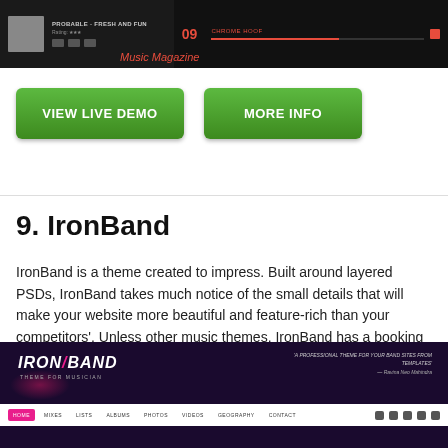[Figure (screenshot): Music Magazine theme screenshot showing a dark player interface with track info, controls, a red progress bar, and the number 09 with CHROME HOOF text on the right side. Overlay text reads Music Magazine in red italic.]
VIEW LIVE DEMO
MORE INFO
9. IronBand
IronBand is a theme created to impress. Built around layered PSDs, IronBand takes much notice of the small details that will make your website more beautiful and feature-rich than your competitors'. Unless other music themes, IronBand has a booking module, which allows for people to send inquiries for booking your band!
[Figure (screenshot): IronBand theme screenshot showing a dark purple/black website header with IRON/BAND logo in white, tagline about professional theme for band, navigation bar with HOME MIXES LISTS ALBUMS PHOTOS VIDEOS GEOGRAPHY CONTACT links, and social icons on the right.]